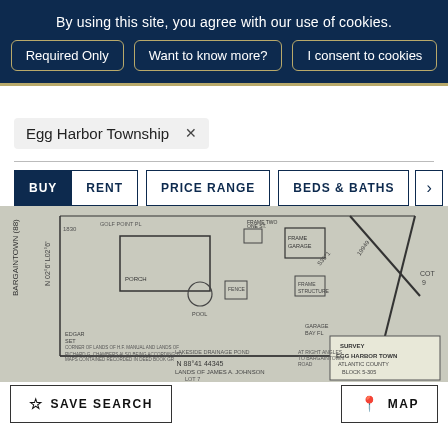By using this site, you agree with our use of cookies.
Required Only
Want to know more?
I consent to cookies
Egg Harbor Township  ×
BUY
RENT
PRICE RANGE
BEDS & BATHS
[Figure (engineering-diagram): Scanned survey/plat map of a property in Egg Harbor Township showing lot boundaries, structures including porch, garage, and other elements, with handwritten annotations including dimensions, lot numbers, and names. Shows 'SURVEY EGG HARBOR TOWN' label at bottom right.]
SAVE SEARCH
MAP